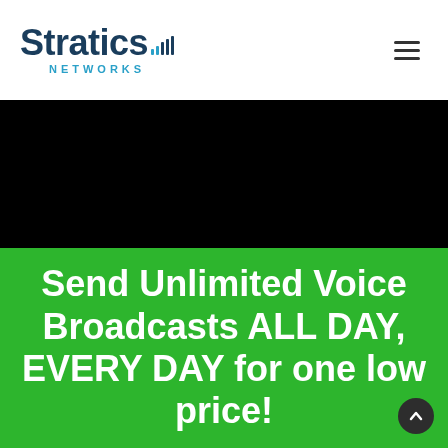[Figure (logo): Stratics Networks logo with signal bars icon above the word 'Stratics' in dark navy and 'NETWORKS' in light blue below]
[Figure (other): Hamburger menu icon (three horizontal lines) in the top right corner]
[Figure (other): Black band / video placeholder area]
Send Unlimited Voice Broadcasts ALL DAY, EVERY DAY for one low price!